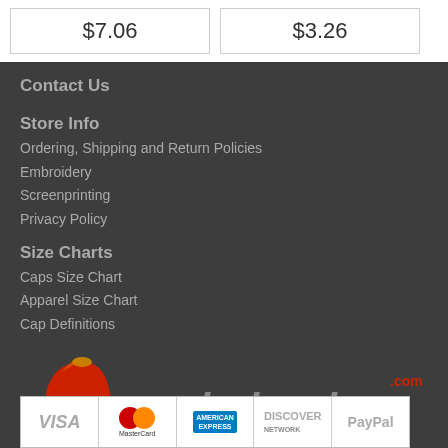$7.06
$3.26
Contact Us
Store Info
Ordering, Shipping and Return Policies
Embroidery
Screenprinting
Privacy Policy
Size Charts
Caps Size Chart
Apparel Size Chart
Cap Definitions
[Figure (logo): CapWholesalers.com logo with tagline: The more you buy, the more you save...]
[Figure (infographic): Payment methods bar: Visa, MasterCard, American Express, Discover, PayPal]